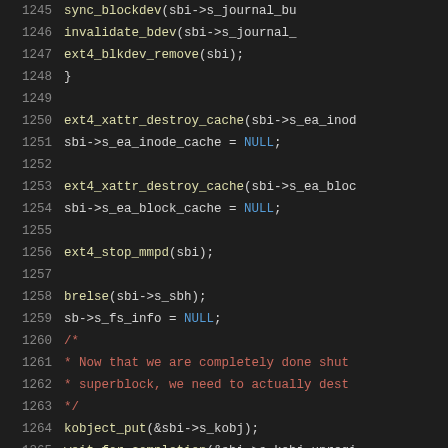[Figure (screenshot): Source code listing showing C code for ext4 filesystem cleanup/put functions, lines 1245-1266, displayed in a dark-theme code editor with syntax highlighting. Line numbers in gray, function names in yellow, comments in red/pink, keywords in blue, regular code in light gray.]